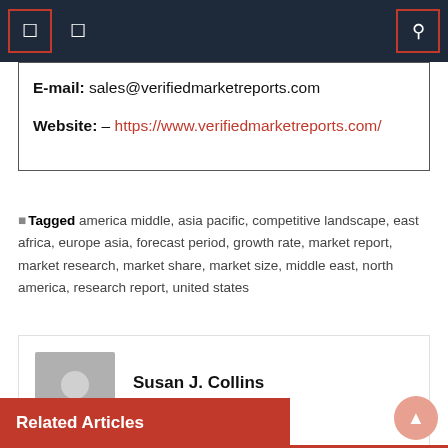E-mail: sales@verifiedmarketreports.com
Website: – https://www.verifiedmarketreports.com/
Tagged america middle, asia pacific, competitive landscape, east africa, europe asia, forecast period, growth rate, market report, market research, market share, market size, middle east, north america, research report, united states
Susan J. Collins
https://real-url.org
Related Articles